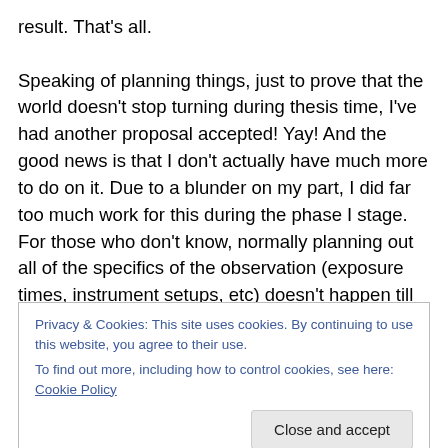result. That's all.

Speaking of planning things, just to prove that the world doesn't stop turning during thesis time, I've had another proposal accepted! Yay! And the good news is that I don't actually have much more to do on it. Due to a blunder on my part, I did far too much work for this during the phase I stage. For those who don't know, normally planning out all of the specifics of the observation (exposure times, instrument setups, etc) doesn't happen till phase II. But I guess I don't actually need to do very much more of that.
Privacy & Cookies: This site uses cookies. By continuing to use this website, you agree to their use.
To find out more, including how to control cookies, see here: Cookie Policy
which doesn't require every statement to have a